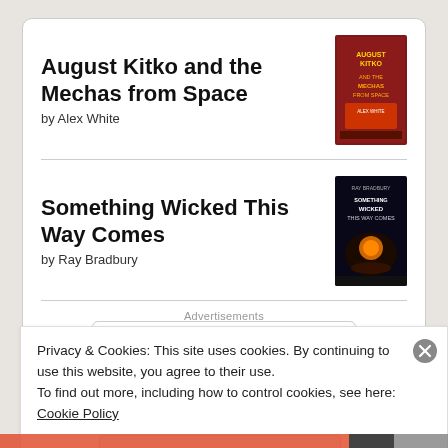August Kitko and the Mechas from Space
by Alex White
Something Wicked This Way Comes
by Ray Bradbury
[Figure (logo): goodreads logo button with border]
Advertisements
Privacy & Cookies: This site uses cookies. By continuing to use this website, you agree to their use.
To find out more, including how to control cookies, see here: Cookie Policy
Close and accept